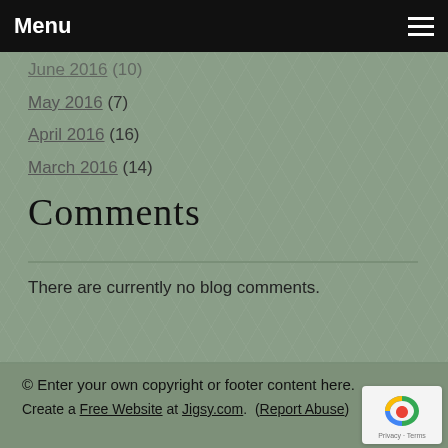Menu
June 2016 (10)
May 2016 (7)
April 2016 (16)
March 2016 (14)
Comments
There are currently no blog comments.
© Enter your own copyright or footer content here.
Create a Free Website at Jigsy.com. (Report Abuse)